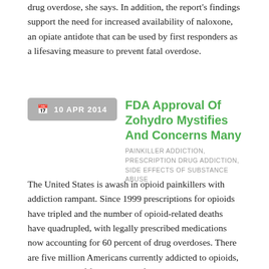drug overdose, she says. In addition, the report's findings support the need for increased availability of naloxone, an opiate antidote that can be used by first responders as a lifesaving measure to prevent fatal overdose.
10 APR 2014
FDA Approval Of Zohydro Mystifies And Concerns Many
PAINKILLER ADDICTION, PRESCRIPTION DRUG ADDICTION, SIDE EFFECTS OF SUBSTANCE ABUSE
The United States is awash in opioid painkillers with addiction rampant. Since 1999 prescriptions for opioids have tripled and the number of opioid-related deaths have quadrupled, with legally prescribed medications now accounting for 60 percent of drug overdoses. There are five million Americans currently addicted to opioids, and three out of four overdose fatalities are caused by opioids. So do we really need another opioid